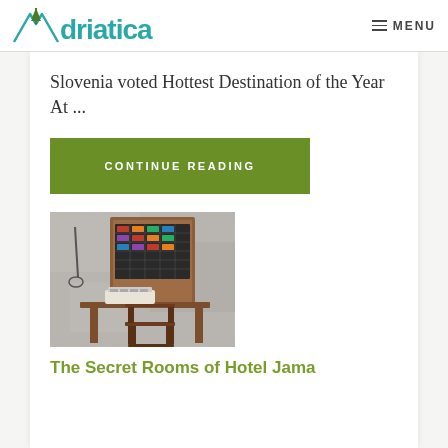Adriatica   MENU
Slovenia voted Hottest Destination of the Year At ...
CONTINUE READING
[Figure (photo): Interior photo showing a wooden writing desk with a typewriter, an old wooden cabinet/panel with many small compartments behind it, against a textured grey concrete wall]
The Secret Rooms of Hotel Jama